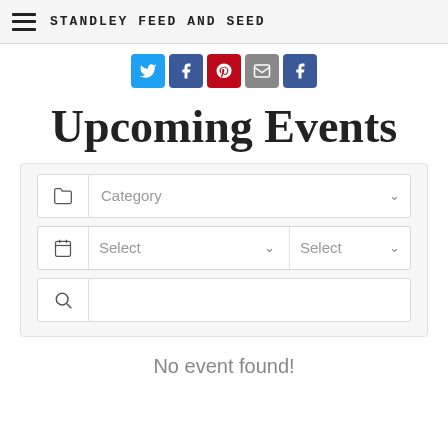STANDLEY FEED AND SEED
[Figure (screenshot): Social media share icons: Twitter, Facebook, Pinterest, Email, Facebook]
Upcoming Events
[Figure (screenshot): Event filter widget with Category dropdown, date Select dropdowns, and search icon]
No event found!